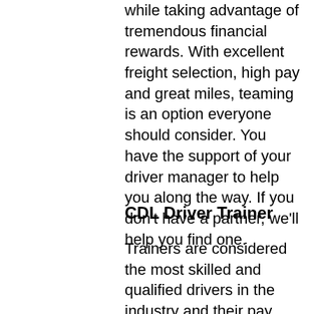while taking advantage of tremendous financial rewards. With excellent freight selection, high pay and great miles, teaming is an option everyone should consider. You have the support of your driver manager to help you along the way. If you don't have a partner, we'll help you find one.
CDL Driver Trainer
Trainers are considered the most skilled and qualified drivers in the industry and their pay matches their status. As a trainer, you will be developing the next generation of drivers, all while enjoying lucrative